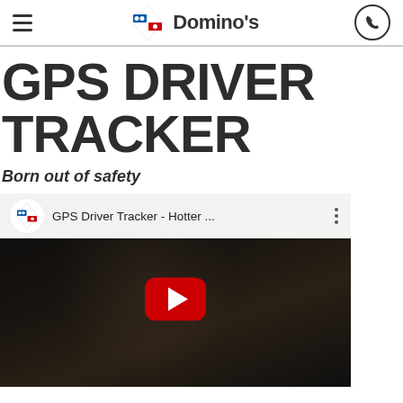Domino's — navigation header with hamburger menu and phone icon
GPS DRIVER TRACKER
Born out of safety
[Figure (screenshot): YouTube video embed thumbnail for 'GPS Driver Tracker - Hotter ...' showing a Domino's delivery driver (woman smiling in uniform) in a dark scene, with a red YouTube play button overlay and the Domino's logo icon in the top-left of the YouTube player bar.]